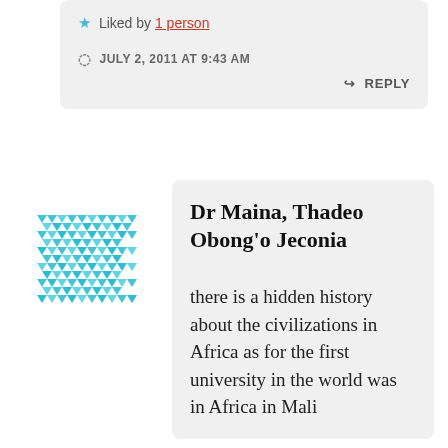★ Liked by 1 person
JULY 2, 2011 AT 9:43 AM
↳ REPLY
[Figure (illustration): Cyan/teal geometric snowflake-pattern avatar icon]
Dr Maina, Thadeo Obong'o Jeconia
there is a hidden history about the civilizations in Africa as for the first university in the world was in Africa in Mali